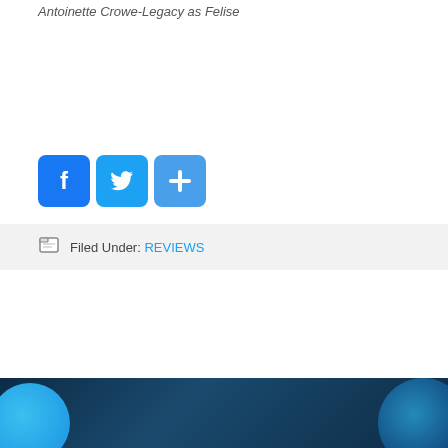Antoinette Crowe-Legacy as Felise
[Figure (infographic): Three social media sharing buttons: Facebook (blue F icon), Twitter (blue bird icon), and a share/more button (blue plus icon)]
Filed Under: REVIEWS